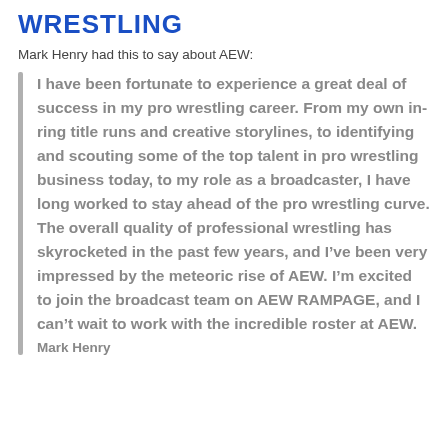WRESTLING
Mark Henry had this to say about AEW:
I have been fortunate to experience a great deal of success in my pro wrestling career. From my own in-ring title runs and creative storylines, to identifying and scouting some of the top talent in pro wrestling business today, to my role as a broadcaster, I have long worked to stay ahead of the pro wrestling curve. The overall quality of professional wrestling has skyrocketed in the past few years, and I’ve been very impressed by the meteoric rise of AEW. I’m excited to join the broadcast team on AEW RAMPAGE, and I can’t wait to work with the incredible roster at AEW.
Mark Henry